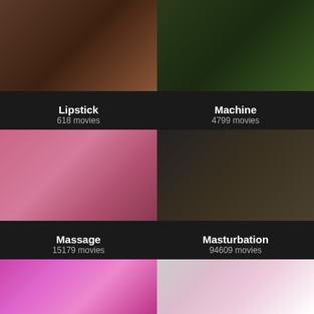[Figure (photo): Thumbnail for Lipstick category]
Lipstick
618 movies
[Figure (photo): Thumbnail for Machine category]
Machine
4799 movies
[Figure (photo): Thumbnail for Massage category]
Massage
15179 movies
[Figure (photo): Thumbnail for Masturbation category]
Masturbation
94609 movies
[Figure (photo): Thumbnail row 3 left]
[Figure (photo): Thumbnail row 3 right]